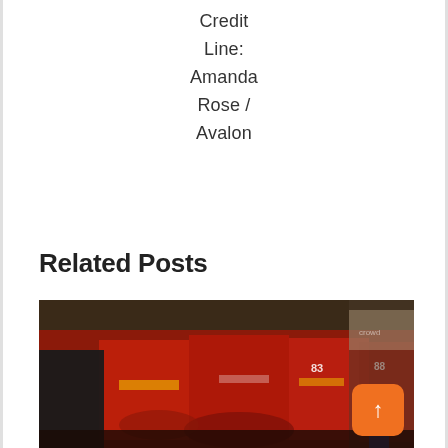Credit Line: Amanda Rose / Avalon
Related Posts
[Figure (photo): NFL players in red San Francisco 49ers uniforms kneeling on the sideline bench during a game; multiple players visible including #83, #88; background shows crowd and other personnel.]
↑